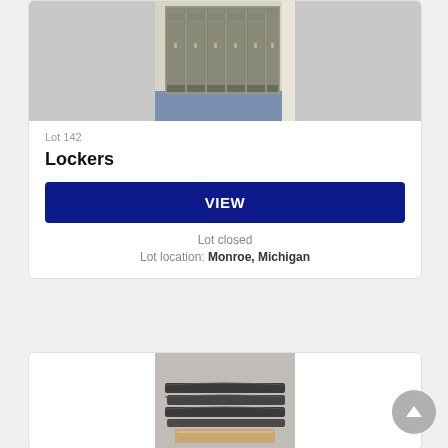[Figure (photo): Photo of gray metal school lockers standing in a row on a blue floor]
Lot 142
Lockers
VIEW
Lot closed
Lot location: Monroe, Michigan
[Figure (photo): Photo of stacked dark gray flat trays or mat-boards piled on a wooden surface]